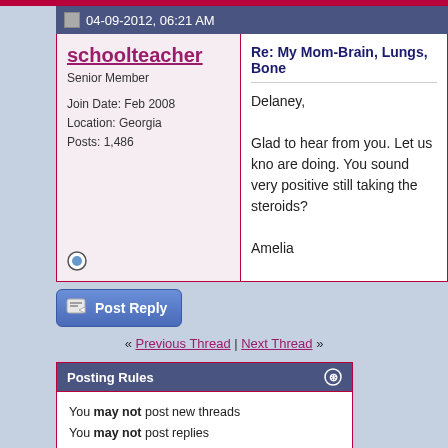04-09-2012, 06:21 AM
schoolteacher
Senior Member

Join Date: Feb 2008
Location: Georgia
Posts: 1,486
Re: My Mom-Brain, Lungs, Bone
Delaney,

Glad to hear from you. Let us kno are doing. You sound very positive still taking the steroids?

Amelia
[Figure (other): Post Reply button]
« Previous Thread | Next Thread »
Posting Rules
You may not post new threads
You may not post replies
You may not post attachments
You may not edit your posts
BB code is On
Smilies are On
[IMG] code is On
HTML code is Off
Forum Jump